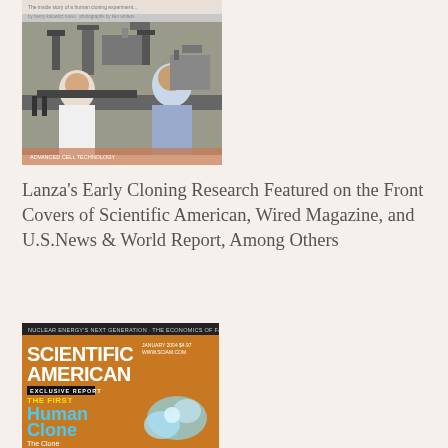[Figure (photo): Two scientists in lab coats working with microscopy equipment in a laboratory setting]
Lanza's Early Cloning Research Featured on the Front Covers of Scientific American, Wired Magazine, and U.S.News & World Report, Among Others
[Figure (photo): Front cover of Scientific American magazine featuring 'EXCLUSIVE REPORT: THE FIRST Human Clone' with cyan text on orange background. Top bar reads 'NUCLEAR ENERGY'S NEXT GENERATION · THE ECONOMICS OF FAIR PLAY']